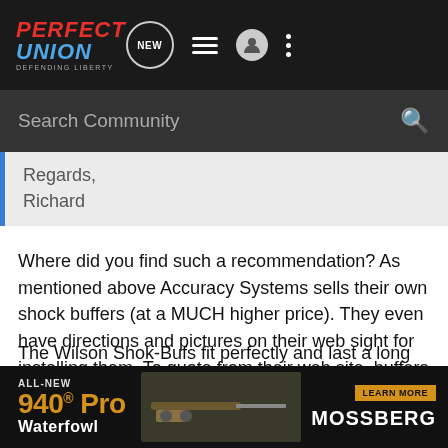PERFECT UNION DEFENDING LIBERTY
Regards,
Richard
Where did you find such a recommendation? As mentioned above Accuracy Systems sells their own shock buffers (at a MUCH higher price). They even have directions and pictures on their web sight for installing them. To quote from their web site, buffers are "A must for protecting your scope" and "Protect receiver also"
The Wilson Shok-Bufs fit perfectly and last a long time.
It's always a good idea to shoot some test groups before and after any mod, but the Wilson Shok-Bufs are probably the most tried-an
[Figure (screenshot): Advertisement banner for Mossberg ALL-NEW 940 Pro Waterfowl with LEARN MORE button]